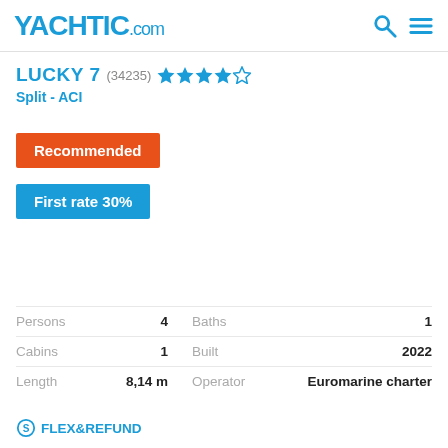YACHTIC.com
LUCKY 7 (34235) Split - ACI
Recommended
First rate 30%
|  |  |  |  |
| --- | --- | --- | --- |
| Persons | 4 | Baths | 1 |
| Cabins | 1 | Built | 2022 |
| Length | 8,14 m | Operator | Euromarine charter |
FLEX&REFUND